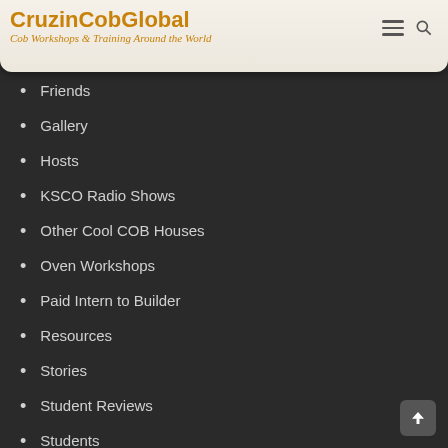CruzinCobGlobal – Cob Workshops & Training Around the World
Friends
Gallery
Hosts
KSCO Radio Shows
Other Cool COB Houses
Oven Workshops
Paid Intern to Builder
Resources
Stories
Student Reviews
Students
Three Workshop Options
Videos
What is “COB”?
What We Do: Our Work
Where We Go: Our Journey
Who We Are: Our Crew
Work Trade Positions
Workshops